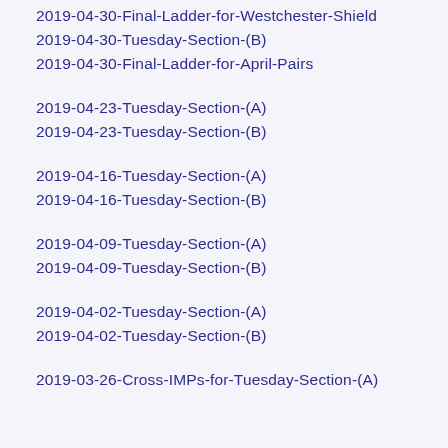2019-04-30-Final-Ladder-for-Westchester-Shield
2019-04-30-Tuesday-Section-(B)
2019-04-30-Final-Ladder-for-April-Pairs
2019-04-23-Tuesday-Section-(A)
2019-04-23-Tuesday-Section-(B)
2019-04-16-Tuesday-Section-(A)
2019-04-16-Tuesday-Section-(B)
2019-04-09-Tuesday-Section-(A)
2019-04-09-Tuesday-Section-(B)
2019-04-02-Tuesday-Section-(A)
2019-04-02-Tuesday-Section-(B)
2019-03-26-Cross-IMPs-for-Tuesday-Section-(A)